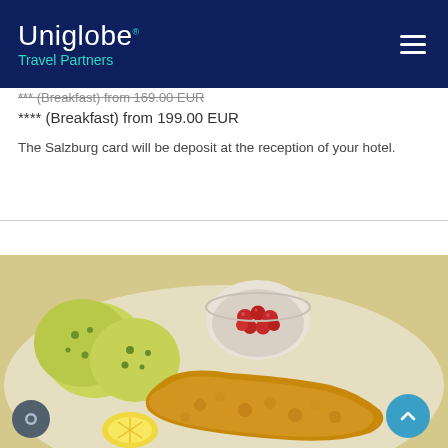Uniglobe. Travel Partners
*** (Breakfast) from 169.00 EUR
**** (Breakfast) from 199.00 EUR
The Salzburg card will be deposit at the reception of your hotel.
[Figure (photo): Photo of a traditional Austrian meal: herb dumplings, a bowl of red berries/cranberries, and breaded schnitzel on a white plate.]